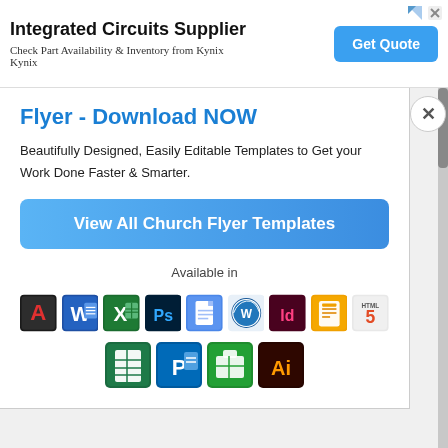[Figure (screenshot): Advertisement banner: 'Integrated Circuits Supplier — Check Part Availability & Inventory from Kynix Kynix' with a blue 'Get Quote' button and close/arrow icons]
Flyer - Download NOW
Beautifully Designed, Easily Editable Templates to Get your Work Done Faster & Smarter.
[Figure (screenshot): Blue gradient button reading 'View All Church Flyer Templates']
Available in
[Figure (infographic): Row of application icons: Adobe Acrobat, Microsoft Word, Microsoft Excel, Adobe Photoshop, Google Docs, WordPress, Adobe InDesign, Apple Pages, HTML5; second row: Google Sheets, Microsoft Publisher, Apple Numbers, Adobe Illustrator]